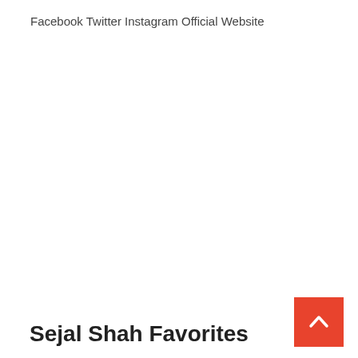Facebook Twitter Instagram Official Website
Sejal Shah Favorites